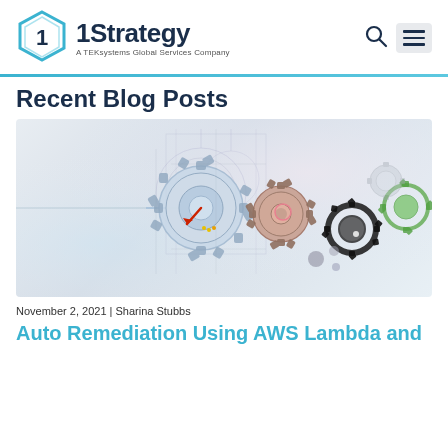1Strategy — A TEKsystems Global Services Company
Recent Blog Posts
[Figure (illustration): Technical engineering illustration featuring gears, cogs, and mechanical schematic blueprint drawings. Multiple colorful gears including blue, red/brown, black, and green gears are arranged across the image on a light grey background with blueprint-style technical line drawings.]
November 2, 2021 | Sharina Stubbs
Auto Remediation Using AWS Lambda and